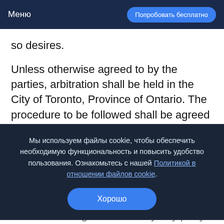Меню | Попробовать бесплатно
so desires.
Unless otherwise agreed to by the parties, arbitration shall be held in the City of Toronto, Province of Ontario. The procedure to be followed shall be agreed to by the parties or,
Мы используем файлы cookie, чтобы обеспечить необходимую функциональность и повысить удобство пользования. Ознакомьтесь с нашей Политикой в отношении файлов cookie.
Хорошо
notwithstanding the default by any party in